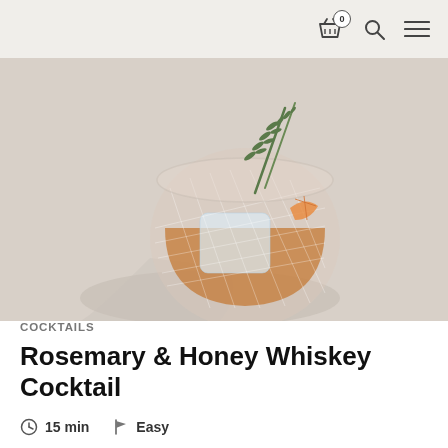0
[Figure (photo): A crystal cut rocks glass filled with amber whiskey and a large ice cube, garnished with a fresh rosemary sprig, photographed from above on a light grey surface with dramatic shadows]
COCKTAILS
Rosemary & Honey Whiskey Cocktail
15 min   Easy